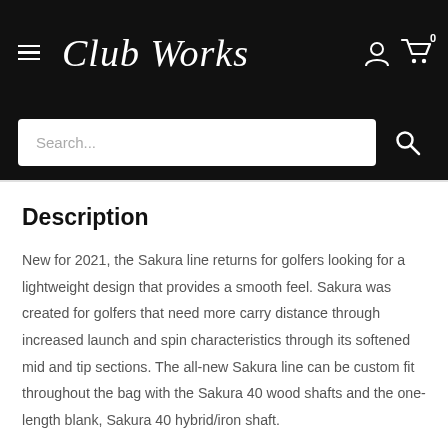Club Works
Description
New for 2021, the Sakura line returns for golfers looking for a lightweight design that provides a smooth feel. Sakura was created for golfers that need more carry distance through increased launch and spin characteristics through its softened mid and tip sections. The all-new Sakura line can be custom fit throughout the bag with the Sakura 40 wood shafts and the one-length blank, Sakura 40 hybrid/iron shaft.